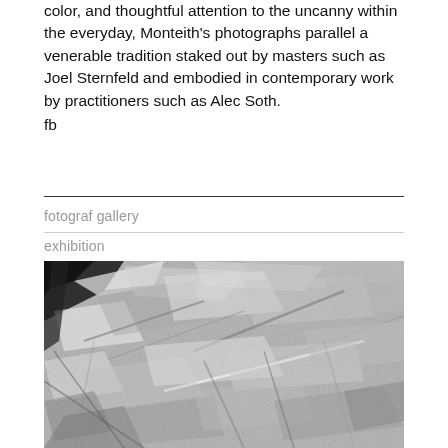color, and thoughtful attention to the uncanny within the everyday, Monteith's photographs parallel a venerable tradition staked out by masters such as Joel Sternfeld and embodied in contemporary work by practitioners such as Alec Soth.
fb
fotograf gallery
exhibition
[Figure (photo): Black and white photograph showing a chaotic pile of broken or crumpled materials — appears to be debris, crumpled paper, or fragmented objects, photographed close-up in high contrast monochrome.]